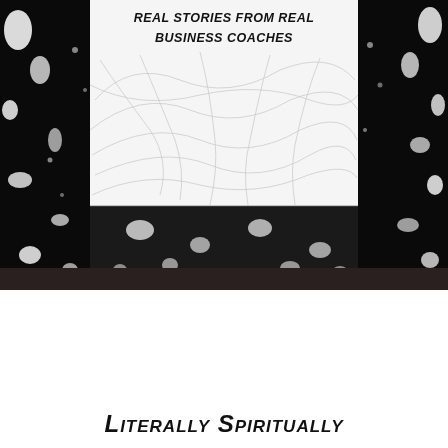[Figure (photo): Book cover image showing white panel with hand-written style title text 'Real Stories from Real Business Coaches' and abstract pencil scribble lines, set against a black mottled/speckled background]
Literally Spiritually